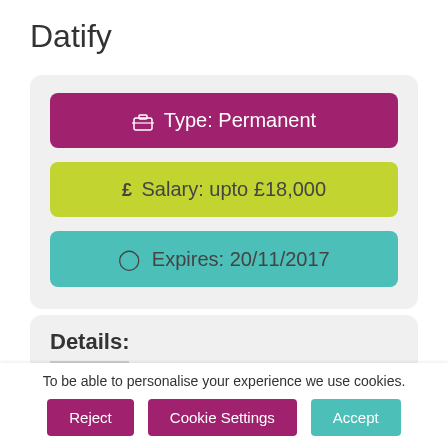Datify
Type: Permanent
£ Salary: upto £18,000
Expires: 20/11/2017
Details:
Our Content 'dream team' have secured national press...
To be able to personalise your experience we use cookies.
Reject
Cookie Settings
Accept